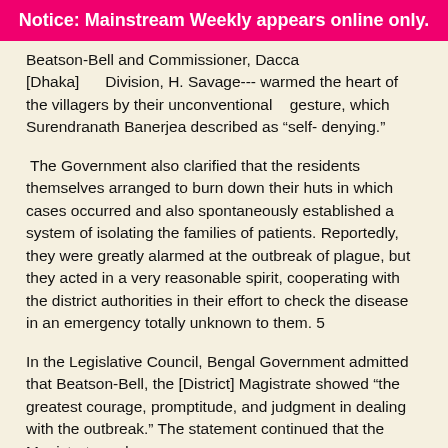Notice: Mainstream Weekly appears online only.
Beatson-Bell and Commissioner, Dacca [Dhaka]      Division, H. Savage--- warmed the heart of the villagers by their unconventional    gesture, which Surendranath Banerjea described as “self- denying.”
The Government also clarified that the residents themselves arranged to burn down their huts in which cases occurred and also spontaneously established a system of isolating the families of patients. Reportedly, they were greatly alarmed at the outbreak of plague, but they acted in a very reasonable spirit, cooperating with the district authorities in their effort to check the disease in an emergency totally unknown to them. 5
In the Legislative Council, Bengal Government admitted that Beatson-Bell, the [District] Magistrate showed “the greatest courage, promptitude, and judgment in dealing with the outbreak.” The statement continued that the Magistrate and